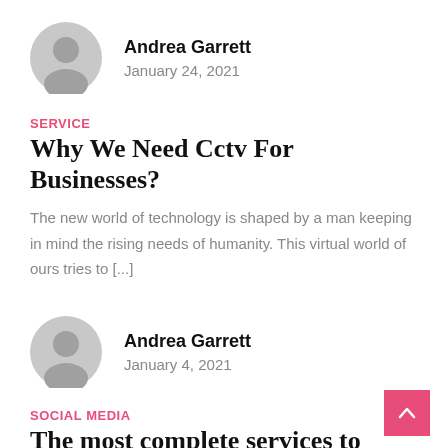Andrea Garrett
January 24, 2021
SERVICE
Why We Need Cctv For Businesses?
The new world of technology is shaped by a man keeping in mind the rising needs of humanity. This virtual world of ours tries to [...]
Andrea Garrett
January 4, 2021
SOCIAL MEDIA
The most complete services to buy...